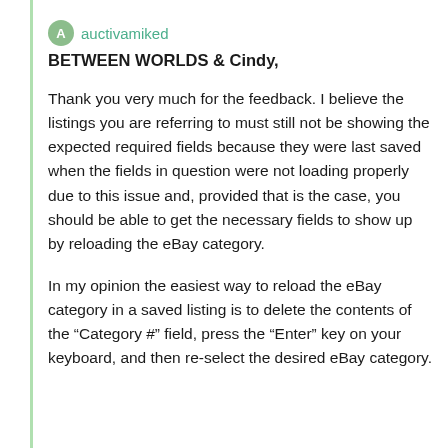auctivamiked
BETWEEN WORLDS & Cindy,
Thank you very much for the feedback. I believe the listings you are referring to must still not be showing the expected required fields because they were last saved when the fields in question were not loading properly due to this issue and, provided that is the case, you should be able to get the necessary fields to show up by reloading the eBay category.
In my opinion the easiest way to reload the eBay category in a saved listing is to delete the contents of the “Category #” field, press the “Enter” key on your keyboard, and then re-select the desired eBay category.